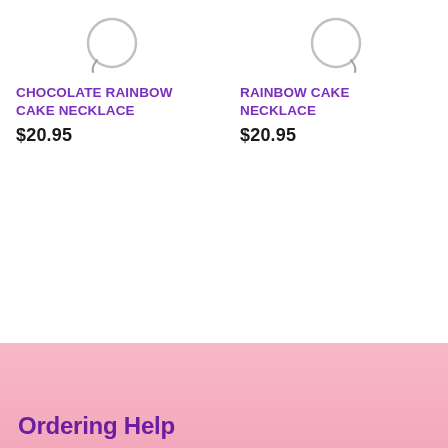[Figure (illustration): Product card showing a necklace ring/chain image for Chocolate Rainbow Cake Necklace]
CHOCOLATE RAINBOW CAKE NECKLACE
$20.95
[Figure (illustration): Product card showing a necklace ring/chain image for Rainbow Cake Necklace]
RAINBOW CAKE NECKLACE
$20.95
Ordering Help